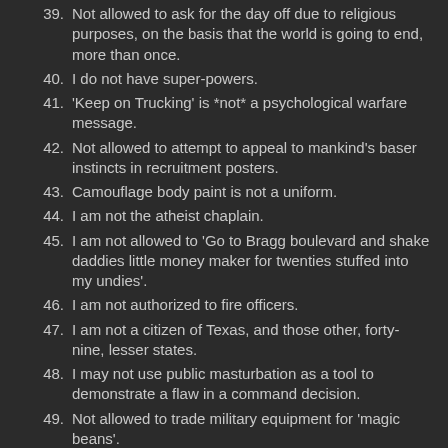39. Not allowed to ask for the day off due to religious purposes, on the basis that the world is going to end, more than once.
40. I do not have super-powers.
41. 'Keep on Trucking' is *not* a psychological warfare message.
42. Not allowed to attempt to appeal to mankind's baser instincts in recruitment posters.
43. Camouflage body paint is not a uniform.
44. I am not the atheist chaplain.
45. I am not allowed to 'Go to Bragg boulevard and shake daddies little money maker for twenties stuffed into my undies'.
46. I am not authorized to fire officers.
47. I am not a citizen of Texas, and those other, forty-nine, lesser states.
48. I may not use public masturbation as a tool to demonstrate a flaw in a command decision.
49. Not allowed to trade military equipment for 'magic beans'.